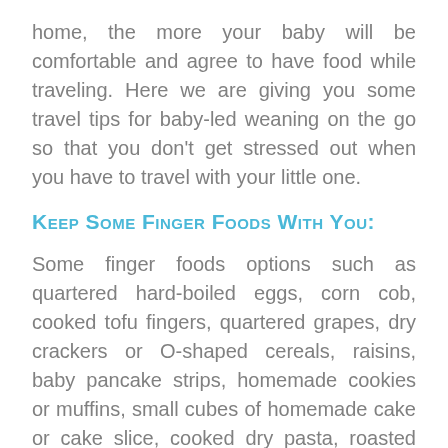home, the more your baby will be comfortable and agree to have food while traveling. Here we are giving you some travel tips for baby-led weaning on the go so that you don't get stressed out when you have to travel with your little one.
Keep some finger foods with you:
Some finger foods options such as quartered hard-boiled eggs, corn cob, cooked tofu fingers, quartered grapes, dry crackers or O-shaped cereals, raisins, baby pancake strips, homemade cookies or muffins, small cubes of homemade cake or cake slice, cooked dry pasta, roasted veggies, avocado slices, freeze-